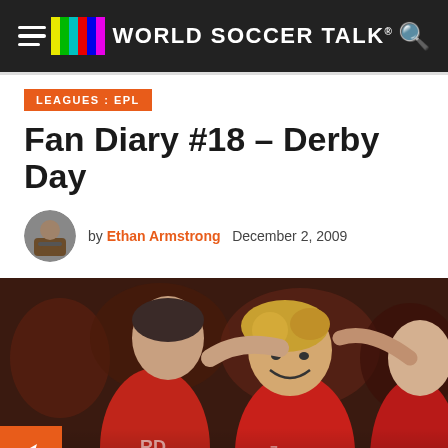WORLD SOCCER TALK
LEAGUES: EPL
Fan Diary #18 – Derby Day
by Ethan Armstrong   December 2, 2009
[Figure (photo): Football players in red jerseys celebrating, smiling and embracing on the pitch. Two main players visible in the foreground wearing red Liverpool-style kits.]